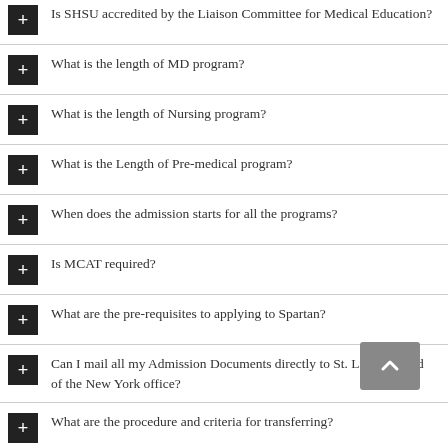Is SHSU accredited by the Liaison Committee for Medical Education?
What is the length of MD program?
What is the length of Nursing program?
What is the Length of Pre-medical program?
When does the admission starts for all the programs?
Is MCAT required?
What are the pre-requisites to applying to Spartan?
Can I mail all my Admission Documents directly to St. Lucia instead of the New York office?
What are the procedure and criteria for transferring?
Is there any availability of student loans in SHSU?